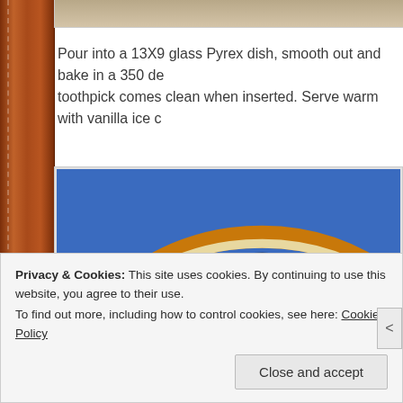[Figure (photo): Partially visible image strip at the top of the page, showing a brownish/tan colored image.]
Pour into a 13X9 glass Pyrex dish, smooth out and bake in a 350 de... toothpick comes clean when inserted. Serve warm with vanilla ice c...
[Figure (photo): Close-up photograph of what appears to be a dark bowl or dish with an orange/yellow and white rim, against a blue sky background.]
Privacy & Cookies: This site uses cookies. By continuing to use this website, you agree to their use.
To find out more, including how to control cookies, see here: Cookie Policy
Close and accept